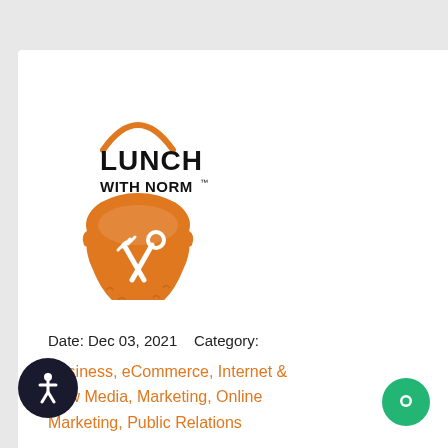[Figure (logo): Lunch With Norm logo — orange bearded face with crossed fork and spoon, text LUNCH WITH NORM above]
Date: Dec 03, 2021    Category:
Business, eCommerce, Internet & New Media, Marketing, Online Marketing, Public Relations
Amazon FBA Fee Revisions Discussed in New Lunch With Norm Blog Post